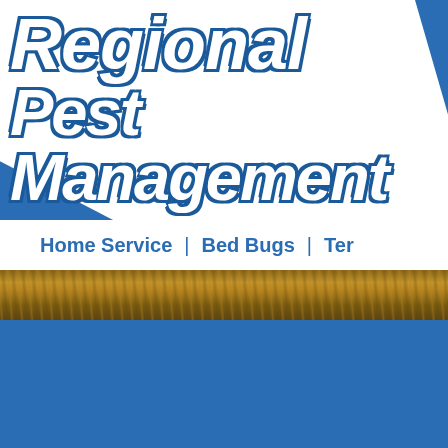Regional Pest Management
Home Service | Bed Bugs | Ter
[Figure (photo): Close-up photo strip of termites or dried straw/wood material, brownish-tan tones]
[Figure (other): Solid blue background section in lower half of page]